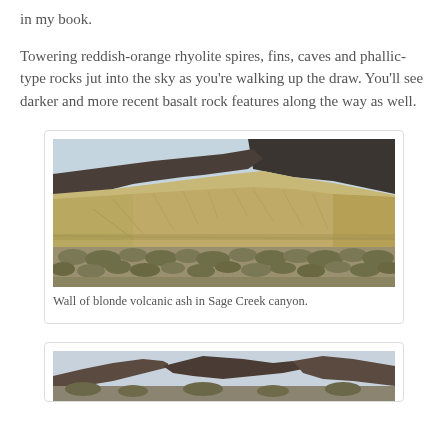in my book.
Towering reddish-orange rhyolite spires, fins, caves and phallic-type rocks jut into the sky as you're walking up the draw. You'll see darker and more recent basalt rock features along the way as well.
[Figure (photo): Landscape photo showing a wall of blonde volcanic ash in Sage Creek canyon, with layered pale yellowish rock formations in the foreground, dark basalt rimrock at the top, and sagebrush scrub in the lower portion.]
Wall of blonde volcanic ash in Sage Creek canyon.
[Figure (photo): Partial landscape photo showing rocky canyon silhouette against a pale sky, cut off at the bottom of the page.]